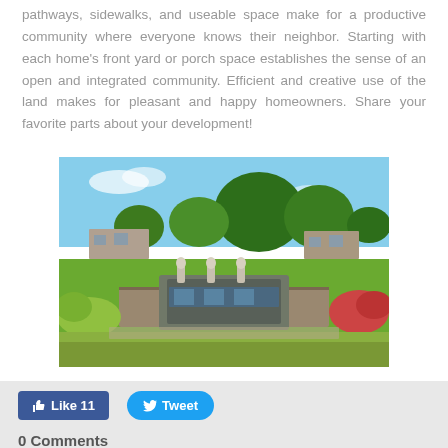pathways, sidewalks, and useable space make for a productive community where everyone knows their neighbor. Starting with each home's front yard or porch space establishes the sense of an open and integrated community. Efficient and creative use of the land makes for pleasant and happy homeowners. Share your favorite parts about your development!
[Figure (photo): Outdoor community garden/courtyard with a decorative fountain feature, lush green landscaping, flowering plants, trees under a clear blue sky, and residential buildings in the background.]
Like 11   Tweet
0 Comments